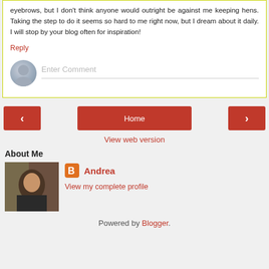eyebrows, but I don't think anyone would outright be against me keeping hens. Taking the step to do it seems so hard to me right now, but I dream about it daily. I will stop by your blog often for inspiration!
Reply
Enter Comment
Home
View web version
About Me
Andrea
View my complete profile
Powered by Blogger.